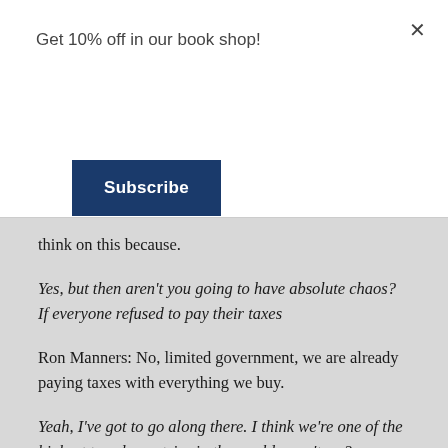Get 10% off in our book shop!
Subscribe
think on this because.
Yes, but then aren't you going to have absolute chaos? If everyone refused to pay their taxes
Ron Manners: No, limited government, we are already paying taxes with everything we buy.
Yeah, I've got to go along there. I think we're one of the highest taxed countries in the world, aren't we?
Ron Manners: You really have got to go overseas to find out how bad it is here. For instance, in January's edition of Reader's Digest. In every edition, except the